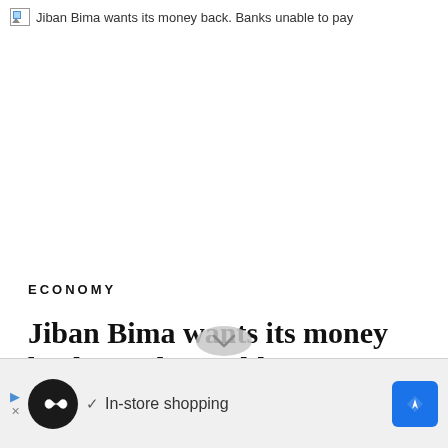[Figure (other): Broken image placeholder with alt text: Jiban Bima wants its money back. Banks unable to pay]
ECONOMY
Jiban Bima wants its money back. Banks unable to pay
[Figure (other): Scroll down chevron button (grey circle with down arrow)]
[Figure (other): Advertisement bar with navigation app icon, checkmark, In-store shopping text, and blue navigation diamond icon]